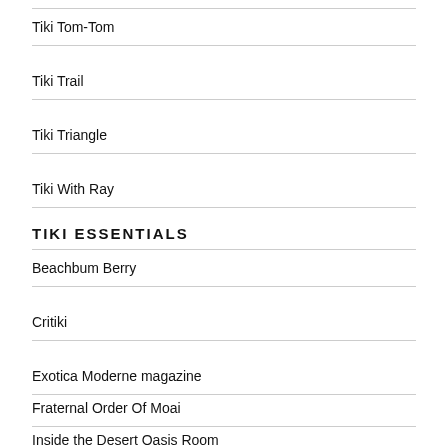Tiki Tom-Tom
Tiki Trail
Tiki Triangle
Tiki With Ray
TIKI ESSENTIALS
Beachbum Berry
Critiki
Exotica Moderne magazine
Fraternal Order Of Moai
Inside the Desert Oasis Room